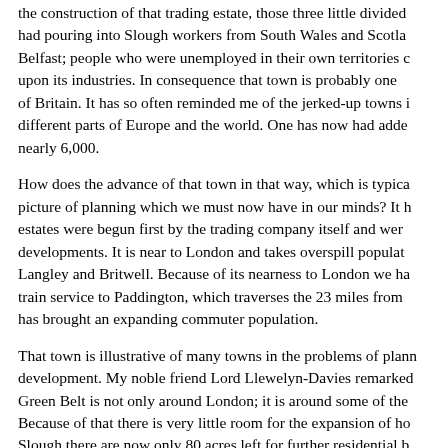the construction of that trading estate, those three little divided had pouring into Slough workers from South Wales and Scotland, Belfast; people who were unemployed in their own territories c upon its industries. In consequence that town is probably one of Britain. It has so often reminded me of the jerked-up towns i different parts of Europe and the world. One has now had adde nearly 6,000.
How does the advance of that town in that way, which is typica picture of planning which we must now have in our minds? It h estates were begun first by the trading company itself and wer developments. It is near to London and takes overspill populat Langley and Britwell. Because of its nearness to London we ha train service to Paddington, which traverses the 23 miles from has brought an expanding commuter population.
That town is illustrative of many towns in the problems of plann development. My noble friend Lord Llewelyn-Davies remarked Green Belt is not only around London; it is around some of the Because of that there is very little room for the expansion of ho Slough there are now only 80 acres left for further residential b